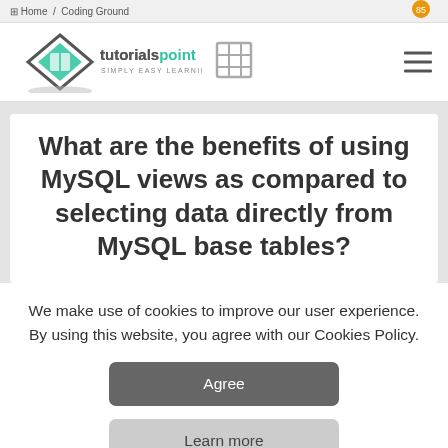Home / Coding Ground
[Figure (logo): Tutorialspoint logo with diamond shape and book icon, text 'tutorialspoint SIMPLY EASY LEARNING']
What are the benefits of using MySQL views as compared to selecting data directly from MySQL base tables?
We make use of cookies to improve our user experience. By using this website, you agree with our Cookies Policy.
Agree
Learn more